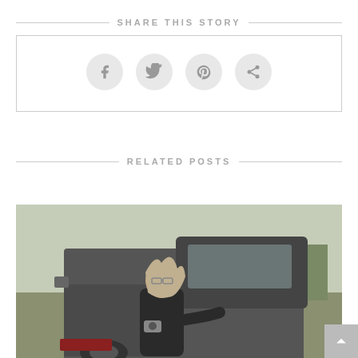SHARE THIS STORY
[Figure (infographic): Social share buttons: Facebook, Twitter, Pinterest, and a generic share icon, each in a light gray circle inside a bordered box]
RELATED POSTS
[Figure (photo): A woman with long gray hair and glasses, wearing a black shirt, leaning against the bed of an old pickup truck in a rural outdoor setting with a fence and trees in the background. She has a camera hanging around her neck.]